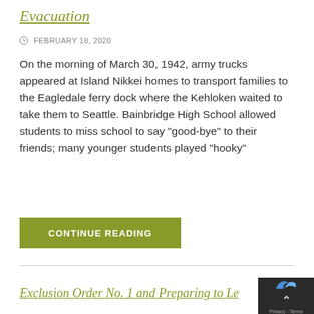Evacuation
FEBRUARY 18, 2020
On the morning of March 30, 1942, army trucks appeared at Island Nikkei homes to transport families to the Eagledale ferry dock where the Kehloken waited to take them to Seattle. Bainbridge High School allowed students to miss school to say "good-bye" to their friends; many younger students played "hooky"
CONTINUE READING
Exclusion Order No. 1 and Preparing to Le…